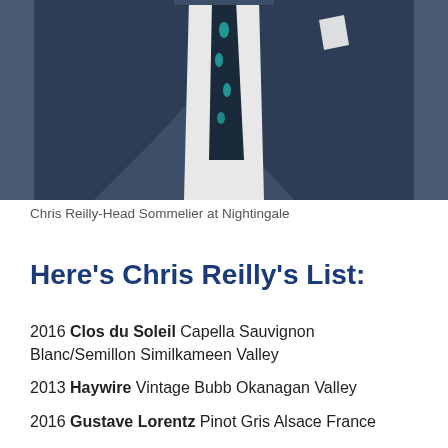[Figure (photo): Cropped photo of a man in a navy suit with a teal-patterned tie and white pocket square, visible from chest up]
Chris Reilly-Head Sommelier at Nightingale
Here's Chris Reilly's List:
2016 Clos du Soleil Capella Sauvignon Blanc/Semillon Similkameen Valley
2013 Haywire Vintage Bubb Okanagan Valley
2016 Gustave Lorentz Pinot Gris Alsace France